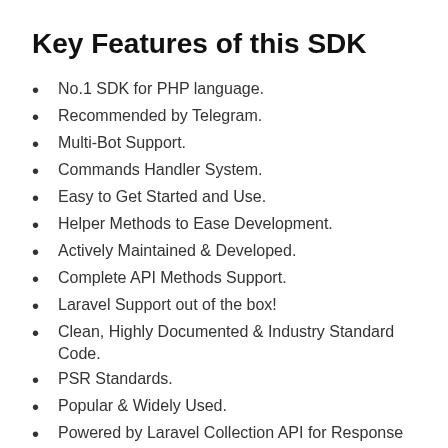Key Features of this SDK
No.1 SDK for PHP language.
Recommended by Telegram.
Multi-Bot Support.
Commands Handler System.
Easy to Get Started and Use.
Helper Methods to Ease Development.
Actively Maintained & Developed.
Complete API Methods Support.
Laravel Support out of the box!
Clean, Highly Documented & Industry Standard Code.
PSR Standards.
Popular & Widely Used.
Powered by Laravel Collection API for Response Objects.